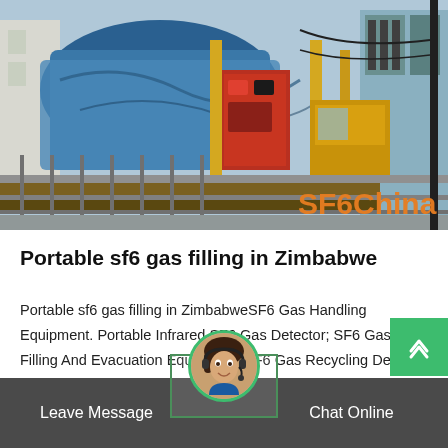[Figure (photo): Industrial SF6 gas handling equipment on a truck/flatbed with blue tarps, red equipment, yellow metal frames, and electrical infrastructure in background. SF6China watermark in orange bottom right.]
Portable sf6 gas filling in Zimbabwe
Portable sf6 gas filling in ZimbabweSF6 Gas Handling Equipment. Portable Infrared SF6 Gas Detector; SF6 Gas Filling And Evacuation Equipment; SF6 Gas Recycling Device; SF6 Recycling And Purify Device; SF6 Gas Recovery Cart SF6 Gas Purification...
Leave Message  Chat Online